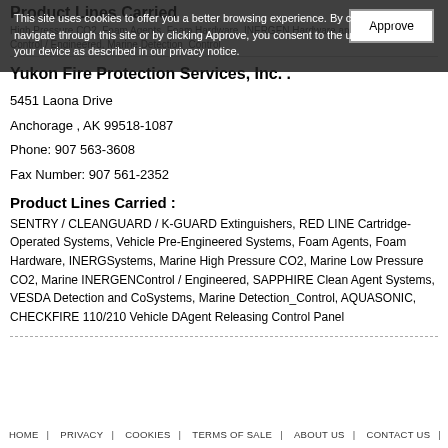Product Lines Carried
High Pressure CO2, Foam Agents, Foam Hardware, INERGEN Hardware and Agent Control / Engineered, Marine Detection_Control
This site uses cookies to offer you a better browsing experience. By continuing to navigate through this site or by clicking Approve, you consent to the use of cookies on your device as described in our privacy notice.
Yukon Fire Protection Services, Inc.
5451 Laona Drive
Anchorage , AK 99518-1087
Phone: 907 563-3608
Fax Number: 907 561-2352
Product Lines Carried :
SENTRY / CLEANGUARD / K-GUARD Extinguishers, RED LINE Cartridge-Operated Systems, Vehicle Pre-Engineered Systems, Foam Agents, Foam Hardware, INERGEN Systems, Marine High Pressure CO2, Marine Low Pressure CO2, Marine INERGEN Control / Engineered, SAPPHIRE Clean Agent Systems, VESDA Detection and Control Systems, Marine Detection_Control, AQUASONIC, CHECKFIRE 110/210 Vehicle Detection, Agent Releasing Control Panel
HOME | PRIVACY | COOKIES | TERMS OF SALE | ABOUT US | CONTACT US |